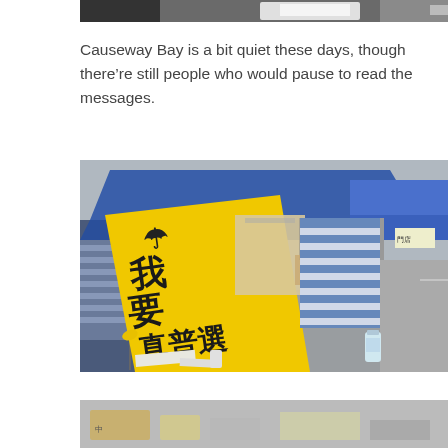[Figure (photo): Top portion of a street photo, partially cropped at top of page, showing dark clothing and a white vehicle in background]
Causeway Bay is a bit quiet these days, though there’re still people who would pause to read the messages.
[Figure (photo): Protest camp in Causeway Bay with blue canopy tents, a large yellow banner with Chinese characters reading 'I want genuine universal suffrage', striped fabric hanging, water bottle and debris on ground]
[Figure (photo): Bottom portion of another street photo, partially cropped, showing protest-related items on the ground]